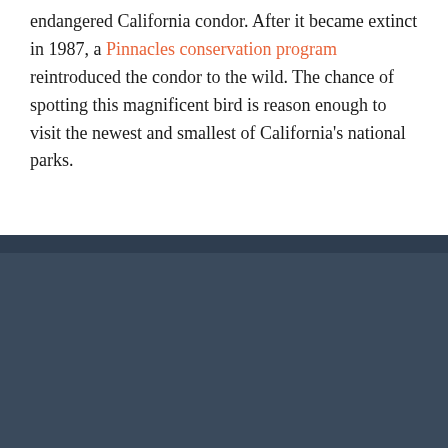endangered California condor. After it became extinct in 1987, a Pinnacles conservation program reintroduced the condor to the wild. The chance of spotting this magnificent bird is reason enough to visit the newest and smallest of California's national parks.
Tagged: